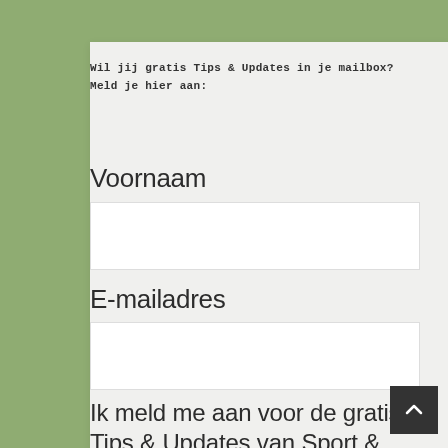Wil jij gratis Tips & Updates in je mailbox?
Meld je hier aan:
Voornaam
E-mailadres
Ik meld me aan voor de gratis Tips & Updates van Sport & Horsemanship